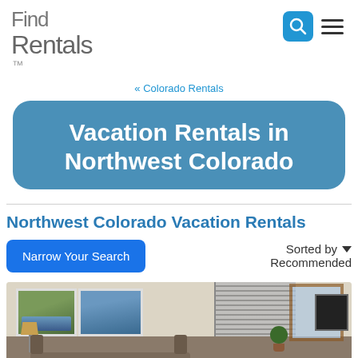Find Rentals (logo)
« Colorado Rentals
Vacation Rentals in Northwest Colorado
Northwest Colorado Vacation Rentals
Narrow Your Search
Sorted by ▾ Recommended
[Figure (photo): Interior photo of a living room with artwork on walls, vertical blinds, a lamp, and a wood-framed window]